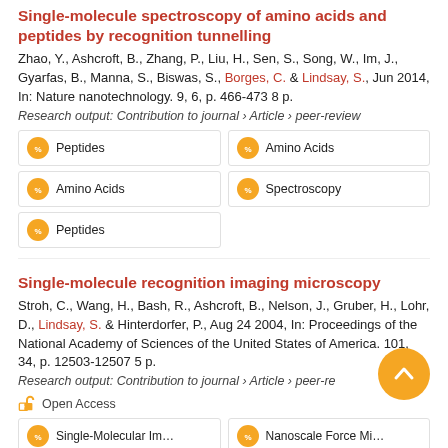Single-molecule spectroscopy of amino acids and peptides by recognition tunnelling
Zhao, Y., Ashcroft, B., Zhang, P., Liu, H., Sen, S., Song, W., Im, J., Gyarfas, B., Manna, S., Biswas, S., Borges, C. & Lindsay, S., Jun 2014, In: Nature nanotechnology. 9, 6, p. 466-473 8 p.
Research output: Contribution to journal › Article › peer-review
Peptides
Amino Acids
Amino Acids
Spectroscopy
Peptides
Single-molecule recognition imaging microscopy
Stroh, C., Wang, H., Bash, R., Ashcroft, B., Nelson, J., Gruber, H., Lohr, D., Lindsay, S. & Hinterdorfer, P., Aug 24 2004, In: Proceedings of the National Academy of Sciences of the United States of America. 101, 34, p. 12503-12507 5 p.
Research output: Contribution to journal › Article › peer-review
Open Access
Single-Molecule Imaging
Nanoscale Force Microscopy